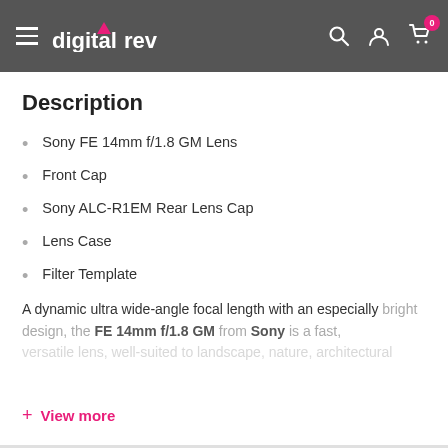digitalrev — navigation header with search, account, and cart icons
Description
Sony FE 14mm f/1.8 GM Lens
Front Cap
Sony ALC-R1EM Rear Lens Cap
Lens Case
Filter Template
A dynamic ultra wide-angle focal length with an especially bright design, the FE 14mm f/1.8 GM from Sony is a fast, versatile lens, well-suited to landscape, nature, architectural
+ View more